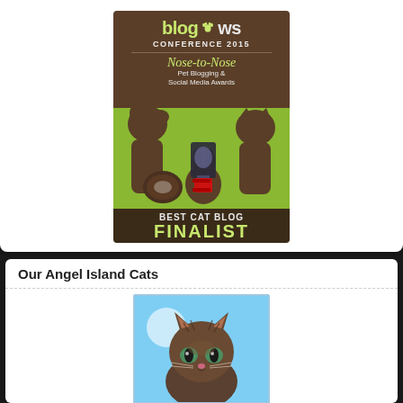[Figure (illustration): BlogPaws Conference 2015 Nose-to-Nose Pet Blogging & Social Media Awards badge showing chocolate animal silhouettes (dog, cat, rabbit, fish bowl) with a trophy, labeled BEST CAT BLOG FINALIST]
Our Angel Island Cats
[Figure (photo): Close-up photo of a long-haired tabby cat with green eyes against a light blue background]